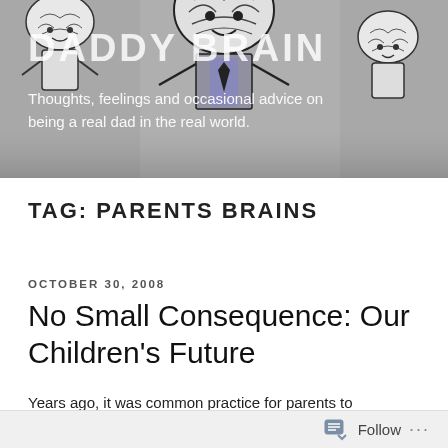[Figure (illustration): Blog header image showing cartoon brain characters on a grey background. A central figure with a brain head wearing a suit with blue shirt, flanked by two smaller brain characters. Partially overlaid by blog title and subtitle text.]
DADDY BRAIN
Thoughts, feelings and occasional advice on being a real dad in the real world.
TAG: PARENTS BRAINS
OCTOBER 30, 2008
No Small Consequence: Our Children's Future
Years ago, it was common practice for parents to physically reprimand their children when they
Follow